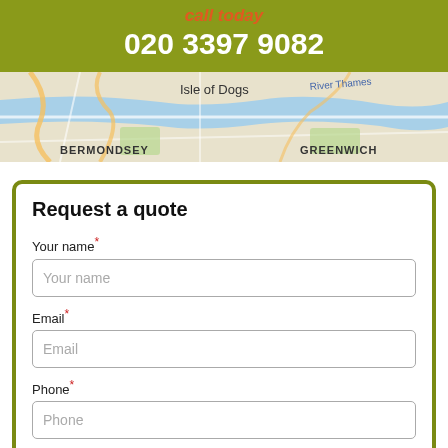call today
020 3397 9082
[Figure (map): Street map showing areas including Isle of Dogs, BERMONDSEY, GREENWICH, and River Thames]
Request a quote
Your name*
Email*
Phone*
Postcode*